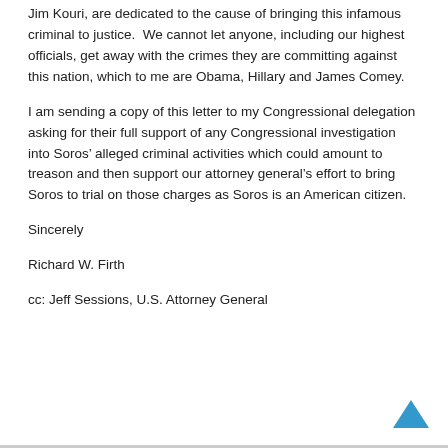Jim Kouri, are dedicated to the cause of bringing this infamous criminal to justice. We cannot let anyone, including our highest officials, get away with the crimes they are committing against this nation, which to me are Obama, Hillary and James Comey.
I am sending a copy of this letter to my Congressional delegation asking for their full support of any Congressional investigation into Soros’ alleged criminal activities which could amount to treason and then support our attorney general’s effort to bring Soros to trial on those charges as Soros is an American citizen.
Sincerely
Richard W. Firth
cc: Jeff Sessions, U.S. Attorney General